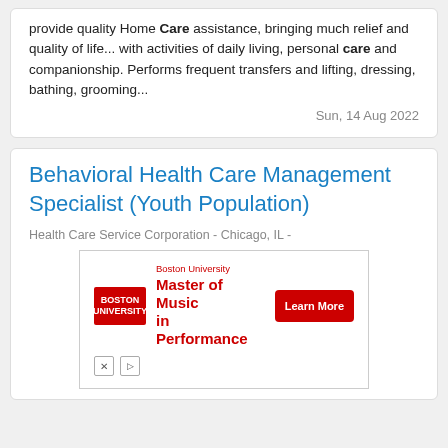provide quality Home Care assistance, bringing much relief and quality of life... with activities of daily living, personal care and companionship. Performs frequent transfers and lifting, dressing, bathing, grooming...
Sun, 14 Aug 2022
Behavioral Health Care Management Specialist (Youth Population)
Health Care Service Corporation - Chicago, IL -
[Figure (other): Boston University advertisement for Master of Music in Performance with Learn More button]